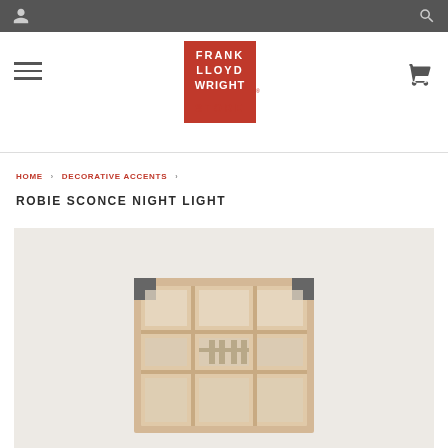Frank Lloyd Wright Store - top navigation bar with user and search icons
[Figure (logo): Frank Lloyd Wright Store logo in red/coral with geometric art deco style lettering]
HOME › DECORATIVE ACCENTS ›
ROBIE SCONCE NIGHT LIGHT
[Figure (photo): Product photo of Robie Sconce Night Light - a wood-framed geometric sconce with art glass panels in beige/neutral tones]